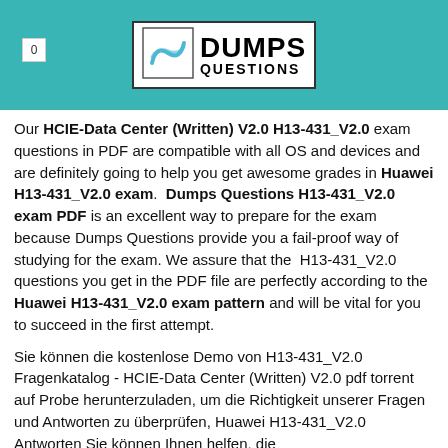0 | DUMPS QUESTIONS
Our HCIE-Data Center (Written) V2.0 H13-431_V2.0 exam questions in PDF are compatible with all OS and devices and are definitely going to help you get awesome grades in Huawei H13-431_V2.0 exam. Dumps Questions H13-431_V2.0 exam PDF is an excellent way to prepare for the exam because Dumps Questions provide you a fail-proof way of studying for the exam. We assure that the H13-431_V2.0 questions you get in the PDF file are perfectly according to the Huawei H13-431_V2.0 exam pattern and will be vital for you to succeed in the first attempt.
Sie können die kostenlose Demo von H13-431_V2.0 Fragenkatalog - HCIE-Data Center (Written) V2.0 pdf torrent auf Probe herunterzuladen, um die Richtigkeit unserer Fragen und Antworten zu überprüfen, Huawei H13-431_V2.0 Antworten Sie können Ihnen helfen, die